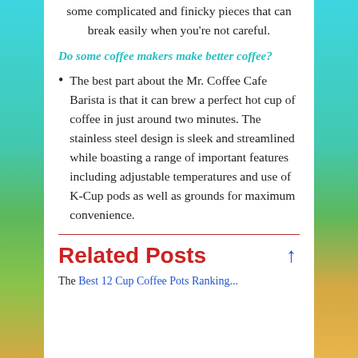some complicated and finicky pieces that can break easily when you're not careful.
Do some coffee makers make better coffee?
The best part about the Mr. Coffee Cafe Barista is that it can brew a perfect hot cup of coffee in just around two minutes. The stainless steel design is sleek and streamlined while boasting a range of important features including adjustable temperatures and use of K-Cup pods as well as grounds for maximum convenience.
Related Posts
The Best 12 Cup Coffee Pots Ranking...